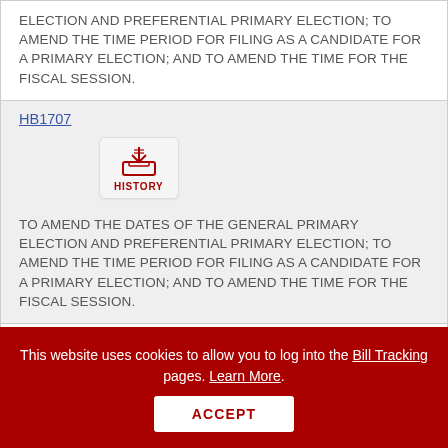ELECTION AND PREFERENTIAL PRIMARY ELECTION; TO AMEND THE TIME PERIOD FOR FILING AS A CANDIDATE FOR A PRIMARY ELECTION; AND TO AMEND THE TIME FOR THE FISCAL SESSION.
HB1707
[Figure (other): History icon - inbox tray with document, labeled HISTORY]
TO AMEND THE DATES OF THE GENERAL PRIMARY ELECTION AND PREFERENTIAL PRIMARY ELECTION; TO AMEND THE TIME PERIOD FOR FILING AS A CANDIDATE FOR A PRIMARY ELECTION; AND TO AMEND THE TIME FOR THE FISCAL SESSION.
HB2039
This website uses cookies to allow you to log into the Bill Tracking pages. Learn More.
ACCEPT